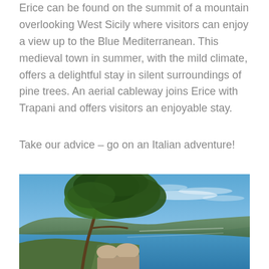Erice can be found on the summit of a mountain overlooking West Sicily where visitors can enjoy a view up to the Blue Mediterranean. This medieval town in summer, with the mild climate, offers a delightful stay in silent surroundings of pine trees. An aerial cableway joins Erice with Trapani and offers visitors an enjoyable stay.
Take our advice – go on an Italian adventure!
[Figure (photo): Scenic view from a hilltop overlooking the Italian coastline with a Mediterranean pine tree in the foreground and two stone domed turrets below; blue sky and sea in the background.]